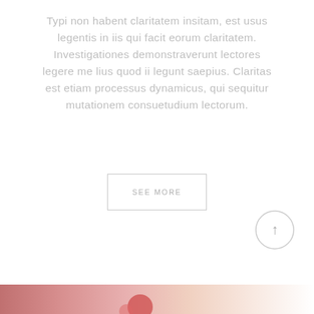Typi non habent claritatem insitam, est usus legentis in iis qui facit eorum claritatem. Investigationes demonstraverunt lectores legere me lius quod ii legunt saepius. Claritas est etiam processus dynamicus, qui sequitur mutationem consuetudium lectorum.
SEE MORE
[Figure (illustration): Circular scroll-to-top button with an upward arrow, light gray border on white background]
[Figure (photo): Partial bottom strip showing a colorful decorative image with warm red and pink tones]